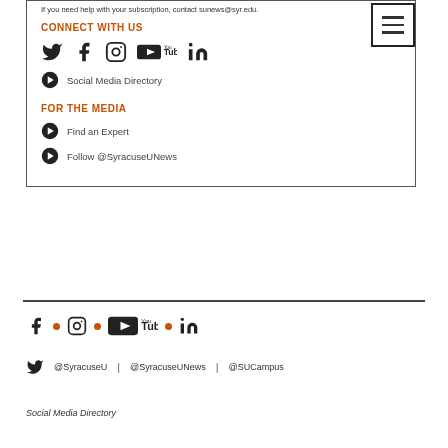If you need help with your subscription, contact sunews@syr.edu.
CONNECT WITH US
[Figure (infographic): Social media icons: Twitter, Facebook, Instagram, YouTube, LinkedIn]
Social Media Directory
FOR THE MEDIA
Find an Expert
Follow @SyracuseUNews
[Figure (infographic): Footer social media icons: Facebook, Instagram, YouTube, LinkedIn with orange dots as separators]
@SyracuseU  |  @SyracuseUNews  |  @SUCampus
Social Media Directory